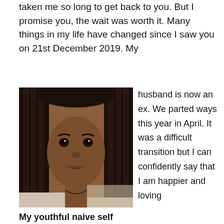taken me so long to get back to you. But I promise you, the wait was worth it. Many things in my life have changed since I saw you on 21st December 2019. My
[Figure (photo): Close-up selfie portrait of a young Black woman with long braided hair, looking at the camera with a direct gaze, hand near her shoulder.]
My youthful naive self
husband is now an ex. We parted ways this year in April. It was a difficult transition but I can confidently say that I am happier and loving